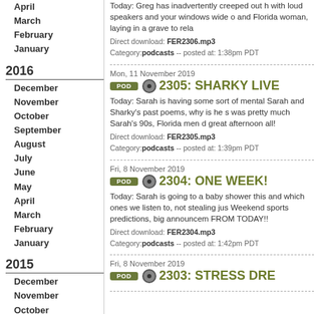April
March
February
January
2016
December
November
October
September
August
July
June
May
April
March
February
January
2015
December
November
October
September
August
July
June
May
April
March
February
January
Today: Greg has inadvertently creeped out h... with loud speakers and your windows wide o... and Florida woman, laying in a grave to rela...
Direct download: FER2306.mp3
Category: podcasts -- posted at: 1:38pm PDT
Mon, 11 November 2019
2305: SHARKY LIVE
Today: Sarah is having some sort of mental... Sarah and Sharky's past poems, why is he s... was pretty much Sarah's 90s, Florida men d... great afternoon all!
Direct download: FER2305.mp3
Category: podcasts -- posted at: 1:39pm PDT
Fri, 8 November 2019
2304: ONE WEEK!
Today: Sarah is going to a baby shower this... and which ones we listen to, not stealing jus... Weekend sports predictions, big announcem... FROM TODAY!!
Direct download: FER2304.mp3
Category: podcasts -- posted at: 1:42pm PDT
Fri, 8 November 2019
2303: STRESS DRE...